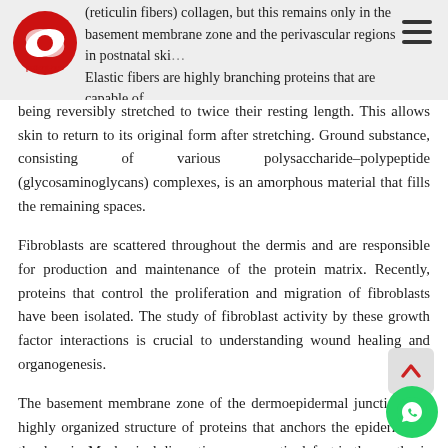(reticulin fibers) collagen, but this remains only in the basement membrane zone and the perivascular regions in postnatal skin. Elastic fibers are highly branching proteins that are capable of
being reversibly stretched to twice their resting length. This allows skin to return to its original form after stretching. Ground substance, consisting of various polysaccharide–polypeptide (glycosaminoglycans) complexes, is an amorphous material that fills the remaining spaces.
Fibroblasts are scattered throughout the dermis and are responsible for production and maintenance of the protein matrix. Recently, proteins that control the proliferation and migration of fibroblasts have been isolated. The study of fibroblast activity by these growth factor interactions is crucial to understanding wound healing and organogenesis.
The basement membrane zone of the dermoepidermal junction is a highly organized structure of proteins that anchors the epidermis to the dermis. Mechanical disruption or a genetic defect in the synthesis of this structure results in separation of the epidermis from the dermis.